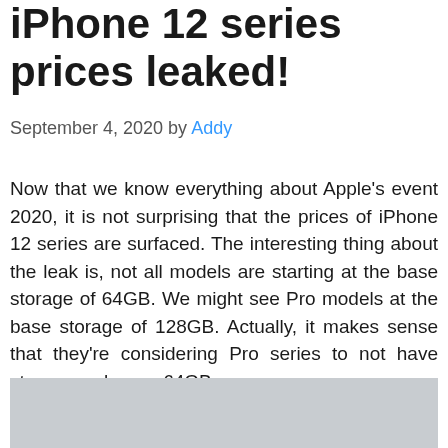iPhone 12 series prices leaked!
September 4, 2020 by Addy
Now that we know everything about Apple's event 2020, it is not surprising that the prices of iPhone 12 series are surfaced. The interesting thing about the leak is, not all models are starting at the base storage of 64GB. We might see Pro models at the base storage of 128GB. Actually, it makes sense that they're considering Pro series to not have storage as low as 64GB.
[Figure (other): Advertisement placeholder block with light gray background]